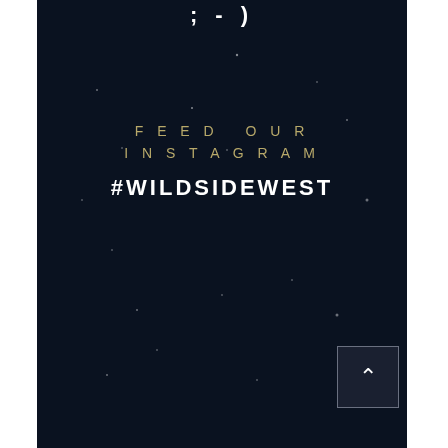;-)
FEED OUR INSTAGRAM
#WILDSIDEWEST